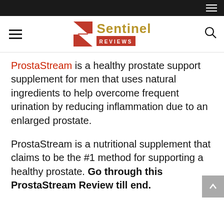Sentinel Reviews
ProstaStream is a healthy prostate support supplement for men that uses natural ingredients to help overcome frequent urination by reducing inflammation due to an enlarged prostate.
ProstaStream is a nutritional supplement that claims to be the #1 method for supporting a healthy prostate. Go through this ProstaStream Review till end.